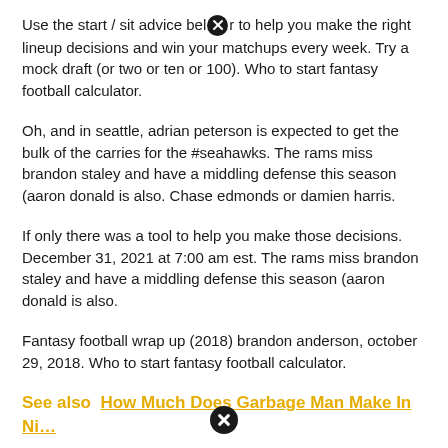Use the start / sit advice below to help you make the right lineup decisions and win your matchups every week. Try a mock draft (or two or ten or 100). Who to start fantasy football calculator.
Oh, and in seattle, adrian peterson is expected to get the bulk of the carries for the #seahawks. The rams miss brandon staley and have a middling defense this season (aaron donald is also. Chase edmonds or damien harris.
If only there was a tool to help you make those decisions. December 31, 2021 at 7:00 am est. The rams miss brandon staley and have a middling defense this season (aaron donald is also.
Fantasy football wrap up (2018) brandon anderson, october 29, 2018. Who to start fantasy football calculator.
See also  How Much Does Garbage Man Make In Ni…